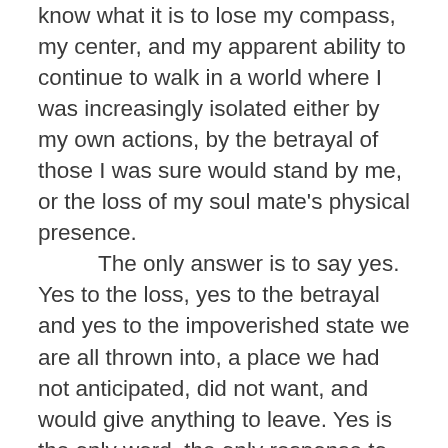know what it is to lose my compass, my center, and my apparent ability to continue to walk in a world where I was increasingly isolated either by my own actions, by the betrayal of those I was sure would stand by me, or the loss of my soul mate's physical presence.
	The only answer is to say yes. Yes to the loss, yes to the betrayal and yes to the impoverished state we are all thrown into, a place we had not anticipated, did not want, and would give anything to leave. Yes is the only word, the only response to our Creator. We cannot see what we are being asked to do beyond that. We have no way of perceiving our place on the wheel of life, not just on